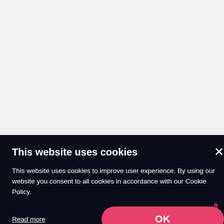[Figure (screenshot): Gray placeholder area representing a website screenshot background]
Asian Melodies Review
[Figure (other): Five gold star rating icons]
This website uses cookies
This website uses cookies to improve user experience. By using our website you consent to all cookies in accordance with our Cookie Policy.
Read more
OK